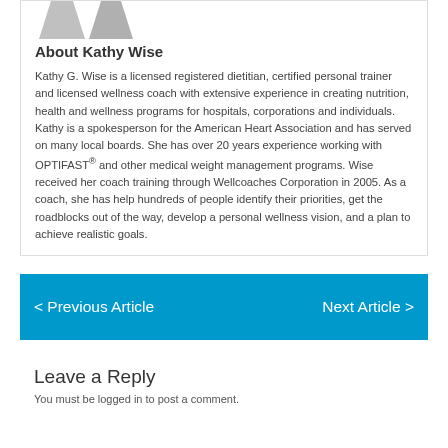[Figure (photo): Two overlapping avatar/silhouette placeholders in gray at the top of the author box]
About Kathy Wise
Kathy G. Wise is a licensed registered dietitian, certified personal trainer and licensed wellness coach with extensive experience in creating nutrition, health and wellness programs for hospitals, corporations and individuals. Kathy is a spokesperson for the American Heart Association and has served on many local boards. She has over 20 years experience working with OPTIFAST® and other medical weight management programs. Wise received her coach training through Wellcoaches Corporation in 2005. As a coach, she has help hundreds of people identify their priorities, get the roadblocks out of the way, develop a personal wellness vision, and a plan to achieve realistic goals.
< Previous Article    Next Article >
Leave a Reply
You must be logged in to post a comment.